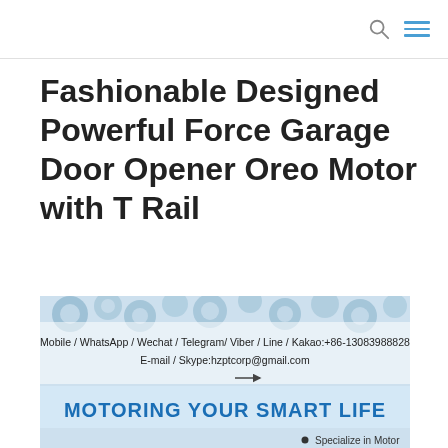Fashionable Designed Powerful Force Garage Door Opener Oreo Motor with T Rail
[Figure (photo): Product advertisement image with gears background. Text reads: Mobile / WhatsApp / Wechat / Telegram/ Viber / Line / Kakao:+86-13083988828, E-mail / Skype:hzptcorp@gmail.com, MOTORING YOUR SMART LIFE, Specialize in Motor]